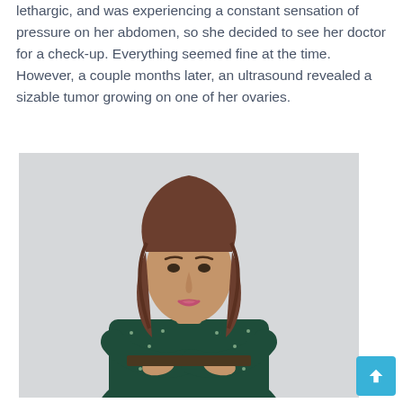lethargic, and was experiencing a constant sensation of pressure on her abdomen, so she decided to see her doctor for a check-up. Everything seemed fine at the time. However, a couple months later, an ultrasound revealed a sizable tumor growing on one of her ovaries.
[Figure (photo): Portrait photo of a woman with shoulder-length brown hair, wearing a dark green floral long-sleeve dress with arms crossed, against a light grey background.]